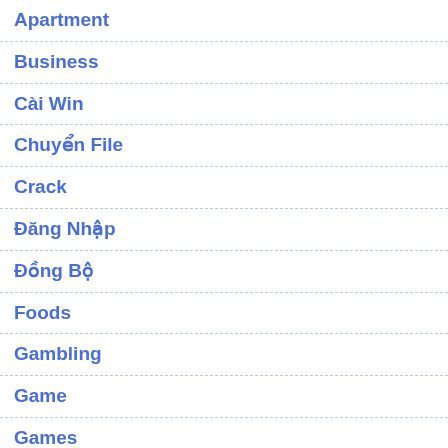Apartment
Business
Cài Win
Chuyển File
Crack
Đăng Nhập
Đồng Bộ
Foods
Gambling
Game
Games
General
Home & Family::Hobbies
Home & Family::Holidays